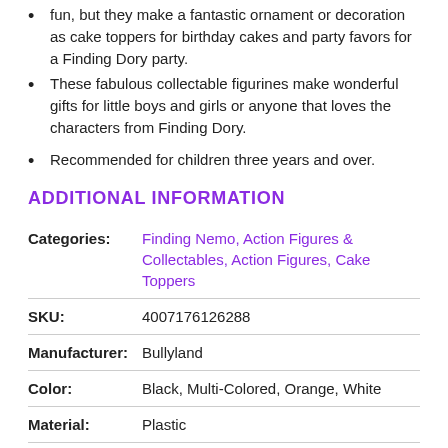fun, but they make a fantastic ornament or decoration as cake toppers for birthday cakes and party favors for a Finding Dory party.
These fabulous collectable figurines make wonderful gifts for little boys and girls or anyone that loves the characters from Finding Dory.
Recommended for children three years and over.
ADDITIONAL INFORMATION
| Field | Value |
| --- | --- |
| Categories: | Finding Nemo, Action Figures & Collectables, Action Figures, Cake Toppers |
| SKU: | 4007176126288 |
| Manufacturer: | Bullyland |
| Color: | Black, Multi-Colored, Orange, White |
| Material: | Plastic |
| Size Details: | Figure Size
Approximately 4 cm (1.57 in.) in height |
| Brand: | Finding Dory |